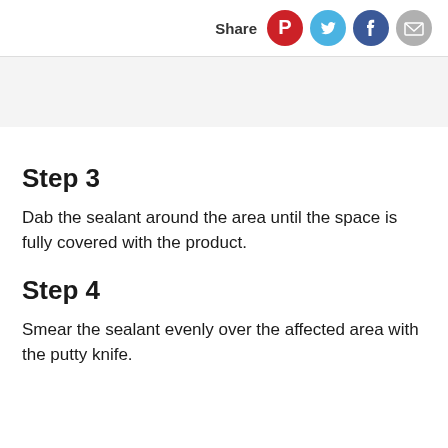Share
[Figure (other): Gray banner/ad space below the share header]
Step 3
Dab the sealant around the area until the space is fully covered with the product.
Step 4
Smear the sealant evenly over the affected area with the putty knife.